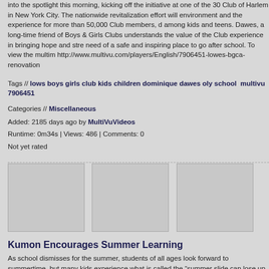into the spotlight this morning, kicking off the initiative at one of the 30 Club of Harlem in New York City. The nationwide revitalization effort will environment and the experience for more than 50,000 Club members, d among kids and teens. Dawes, a long-time friend of Boys & Girls Clubs understands the value of the Club experience in bringing hope and stre need of a safe and inspiring place to go after school. To view the multim http://www.multivu.com/players/English/7906451-lowes-bgca-renovation
Tags // lows boys girls club kids children dominique dawes oly school multivu 7906451
Categories // Miscellaneous
Added: 2185 days ago by MultiVuVideos
Runtime: 0m34s | Views: 486 | Comments: 0
Not yet rated
[Figure (photo): Three video thumbnail images side by side]
Kumon Encourages Summer Learning
As school dismisses for the summer, students of all ages look forward to summertime, but many kids experience what is called the “summer slide can lose up to two months of learning. Kumon, the world's largest after-s program, is offering free registration at participating learning centers fro students continue learning through the summer months. While a break f of school is needed, challenging children year round is the key to having following school year. “Students can avoid summer learning loss by kee and absorbing new knowledge,” said Dominique Ciccarelli, Ed. M., educ Kumon North America. “Continuous study throughout the summer helps